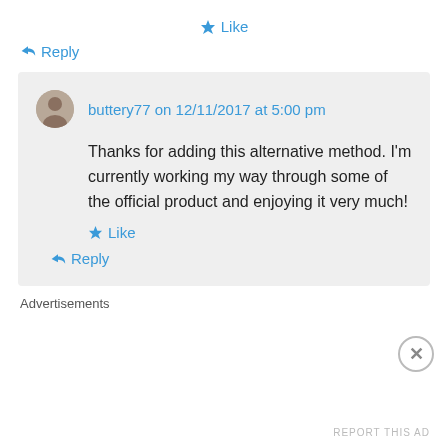★ Like
↪ Reply
buttery77 on 12/11/2017 at 5:00 pm
Thanks for adding this alternative method. I'm currently working my way through some of the official product and enjoying it very much!
★ Like
↪ Reply
Advertisements